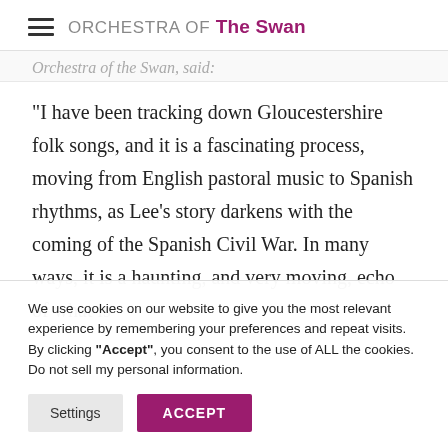ORCHESTRA OF The Swan
Orchestra of the Swan, said:
"I have been tracking down Gloucestershire folk songs, and it is a fascinating process, moving from English pastoral music to Spanish rhythms, as Lee’s story darkens with the coming of the Spanish Civil War. In many ways, it is a haunting, and very moving, echo of what is
We use cookies on our website to give you the most relevant experience by remembering your preferences and repeat visits. By clicking "Accept", you consent to the use of ALL the cookies.
Do not sell my personal information.